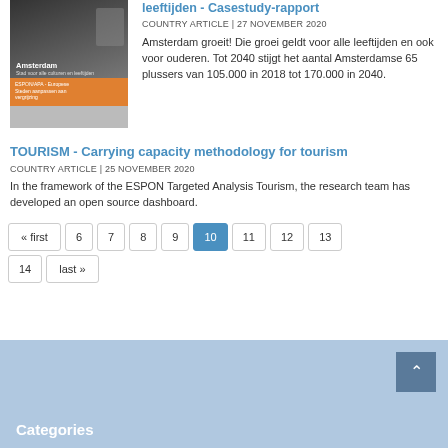leeftijden - Casestudy-rapport
COUNTRY ARTICLE | 27 November 2020
Amsterdam groeit! Die groei geldt voor alle leeftijden en ook voor ouderen. Tot 2040 stijgt het aantal Amsterdamse 65 plussers van 105.000 in 2018 tot 170.000 in 2040.
TOURISM - Carrying capacity methodology for tourism
COUNTRY ARTICLE | 25 November 2020
In the framework of the ESPON Targeted Analysis Tourism, the research team has developed an open source dashboard.
« first 6 7 8 9 10 11 12 13 14 last »
Categories